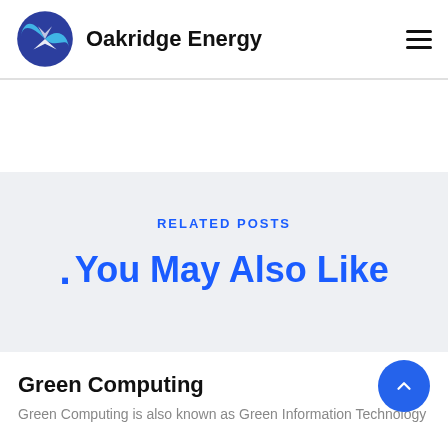Oakridge Energy
RELATED POSTS
. You May Also Like
Green Computing
Green Computing is also known as Green Information Technology